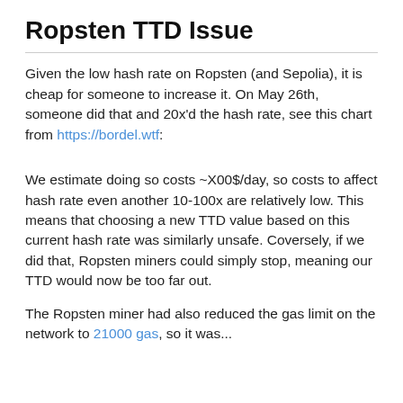Ropsten TTD Issue
Given the low hash rate on Ropsten (and Sepolia), it is cheap for someone to increase it. On May 26th, someone did that and 20x'd the hash rate, see this chart from https://bordel.wtf:
We estimate doing so costs ~X00$/day, so costs to affect hash rate even another 10-100x are relatively low. This means that choosing a new TTD value based on this current hash rate was similarly unsafe. Coversely, if we did that, Ropsten miners could simply stop, meaning our TTD would now be too far out.
The Ropsten miner had also reduced the gas limit on the network to 21000 gas, so it was...